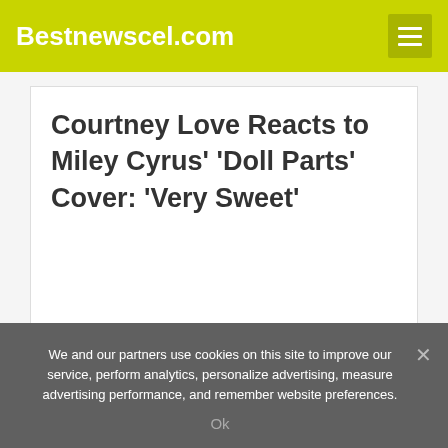Bestnewscel.com
Courtney Love Reacts to Miley Cyrus' 'Doll Parts' Cover: 'Very Sweet'
< What is Simon Cowell's net worth, what's his age and is he married to
Kevin Hart Suffers ‘Major Injuries’ After Car Veers Off Road Into A Ditch >
We and our partners use cookies on this site to improve our service, perform analytics, personalize advertising, measure advertising performance, and remember website preferences.
Ok